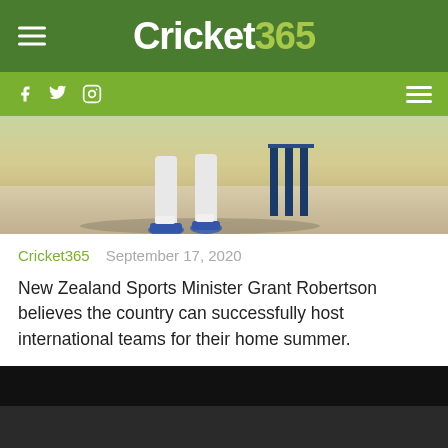Cricket365
[Figure (photo): Cricket player legs near stumps on a cricket pitch]
Cricket365   September 17, 2020
New Zealand Sports Minister Grant Robertson believes the country can successfully host international teams for their home summer.
Robertson has moved to rubber stamp inbound cricket tours by the end of September.
[Figure (screenshot): Dark media/video player block at the bottom of page]